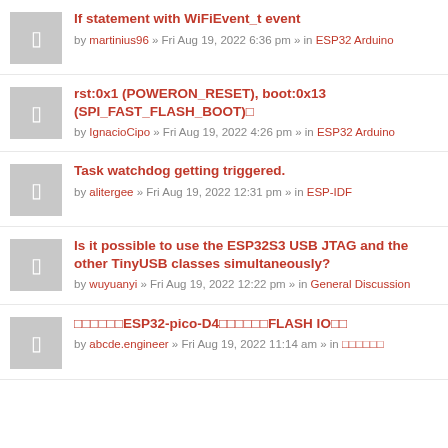If statement with WiFiEvent_t event
by martinius96 » Fri Aug 19, 2022 6:36 pm » in ESP32 Arduino
rst:0x1 (POWERON_RESET), boot:0x13 (SPI_FAST_FLASH_BOOT)
by IgnacioCipo » Fri Aug 19, 2022 4:26 pm » in ESP32 Arduino
Task watchdog getting triggered.
by alitergee » Fri Aug 19, 2022 12:31 pm » in ESP-IDF
Is it possible to use the ESP32S3 USB JTAG and the other TinyUSB classes simultaneously?
by wuyuanyi » Fri Aug 19, 2022 12:22 pm » in General Discussion
关于ESP32-pico-D4开发板的FLASH IO口
by abcde.engineer » Fri Aug 19, 2022 11:14 am » in 中文论坛